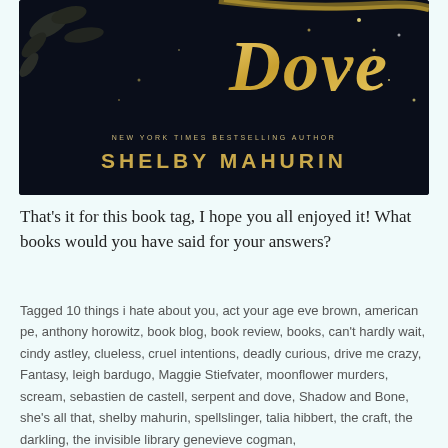[Figure (illustration): Book cover of 'Serpent and Dove' by Shelby Mahurin. Dark background with gold ornate title text 'Dove' visible, leaves decoration, sparkle effects, text reads 'New York Times Bestselling Author Shelby Mahurin']
That's it for this book tag, I hope you all enjoyed it! What books would you have said for your answers?
Tagged 10 things i hate about you, act your age eve brown, american pe, anthony horowitz, book blog, book review, books, can't hardly wait, cindy astley, clueless, cruel intentions, deadly curious, drive me crazy, Fantasy, leigh bardugo, Maggie Stiefvater, moonflower murders, scream, sebastien de castell, serpent and dove, Shadow and Bone, she's all that, shelby mahurin, spellslinger, talia hibbert, the craft, the darkling, the invisible library genevieve cogman,